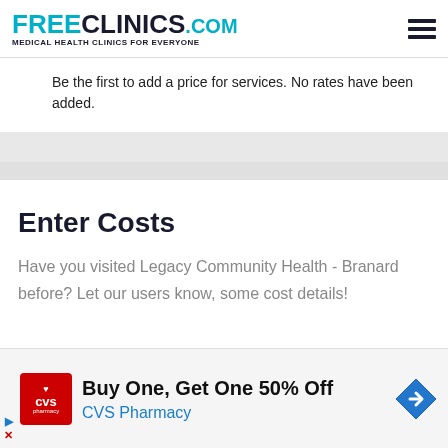FreeClinics.com - Medical Health Clinics For Everyone
Be the first to add a price for services. No rates have been added.
Enter Costs
Have you visited Legacy Community Health - Branard before? Let our users know, some cost details!
[Figure (screenshot): Dropdown chevron and partial cropped text at bottom of form]
Buy One, Get One 50% Off
CVS Pharmacy